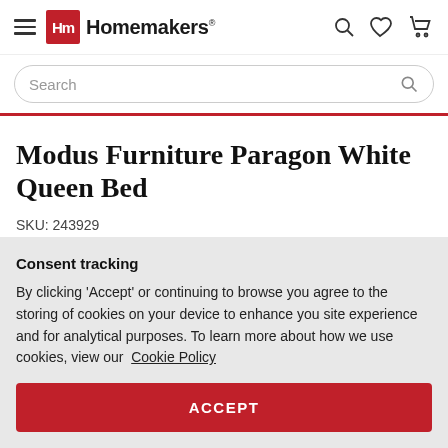Homemakers
Modus Furniture Paragon White Queen Bed
SKU: 243929
Consent tracking
By clicking 'Accept' or continuing to browse you agree to the storing of cookies on your device to enhance you site experience and for analytical purposes. To learn more about how we use cookies, view our Cookie Policy
ACCEPT